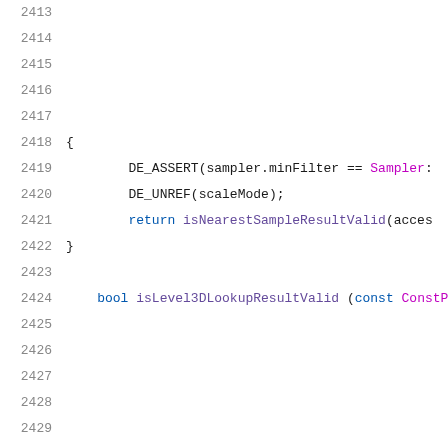Source code listing lines 2413-2433
2413 (empty)
2414 (empty)
2415 (empty)
2416 (empty)
2417 (empty)
2418     {
2419         DE_ASSERT(sampler.minFilter == Sampler:
2420         DE_UNREF(scaleMode);
2421         return isNearestSampleResultValid(acces
2422     }
2423 (empty)
2424     bool isLevel3DLookupResultValid (const ConstPix
2425 (empty)
2426 (empty)
2427 (empty)
2428 (empty)
2429 (empty)
2430     {
2431         DE_ASSERT(sampler.minFilter == Sampler:
2432         DE_UNREF(scaleMode);
2433         return isNearestSampleResultValid(acces